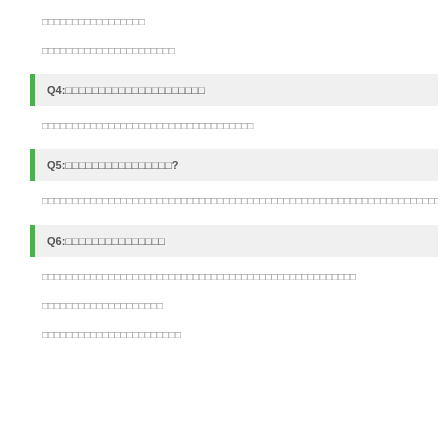□□□□□□□□□□□□□□□□□
□□□□□□□□□□□□□□□□□□□□□□
Q4:□□□□□□□□□□□□□□□□□□□□□
□□□□□□□□□□□□□□□□□□□□□□□□□□□□□□□□□□□
Q5:□□□□□□□□□□□□□□□□?
□□□□□□□□□□□□□□□□□□□□□□□□□□□□□□□□□□□□□□□□□□□□□□□□□□□□□□□□□□□□□□□□□□□□□□□□□□□□□□□□□□□□□□□□□□□□□□□□□□□□□□□□□□□□□□□□□□□□□□□□□□□□□□□□□□□□□□□□□□□□□□
Q6:□□□□□□□□□□□□□□□
□□□□□□□□□□□□□□□□□□□□□□□□□□□□□□□□□□□□□□□□□□□□□□□□□□□□
□□□□□□□□□□□□□□□□□□□□
□□□□□□□□□□□□□□□□□□□□□□□